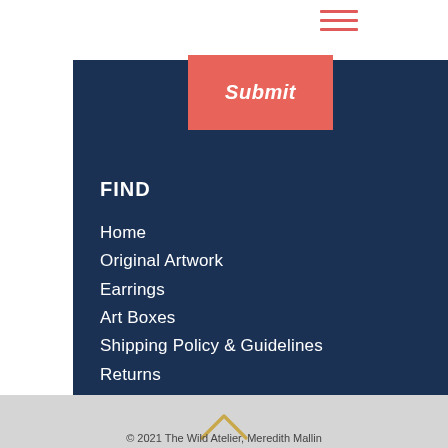[Figure (screenshot): Hamburger menu icon (three horizontal salmon/coral lines) in top navigation bar area]
[Figure (screenshot): Coral/salmon Submit button with italic white text]
FIND
Home
Original Artwork
Earrings
Art Boxes
Shipping Policy & Guidelines
Returns
© 2021 The Wild Atelier, Meredith Mallin